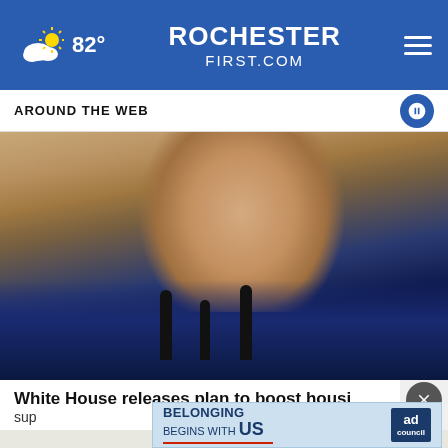82° ROCHESTERFIRST.COM
AROUND THE WEB
[Figure (photo): President Joe Biden speaking at a podium with microphones, wearing a navy blue suit and blue striped tie, hands raised, with a painting visible in the background]
White House releases plan to boost housing supply
[Figure (infographic): Ad banner: BELONGING BEGINS WITH US - Ad Council advertisement with blue background]